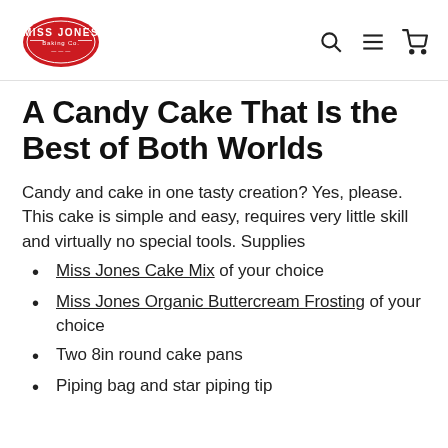Miss Jones Bakery Co. [logo] [search icon] [menu icon] [cart icon]
A Candy Cake That Is the Best of Both Worlds
Candy and cake in one tasty creation? Yes, please. This cake is simple and easy, requires very little skill and virtually no special tools. Supplies
Miss Jones Cake Mix of your choice
Miss Jones Organic Buttercream Frosting of your choice
Two 8in round cake pans
Piping bag and star piping tip